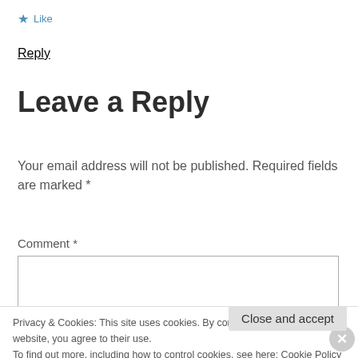★ Like
Reply
Leave a Reply
Your email address will not be published. Required fields are marked *
Comment *
Privacy & Cookies: This site uses cookies. By continuing to use this website, you agree to their use.
To find out more, including how to control cookies, see here: Cookie Policy
Close and accept